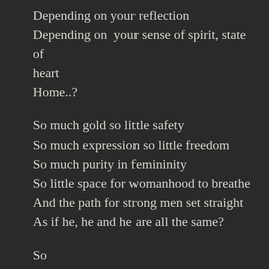Depending on your reflection
Depending on  your sense of spirit, state of heart
Home..?
So much gold so little safety
So much expression so little freedom
So much purity in femininity
So little space for womanhood to breathe
And the path for strong men set straight
As if he, he and he are all the same?
So

What happens to the bird once set free?
How can man think she will return to